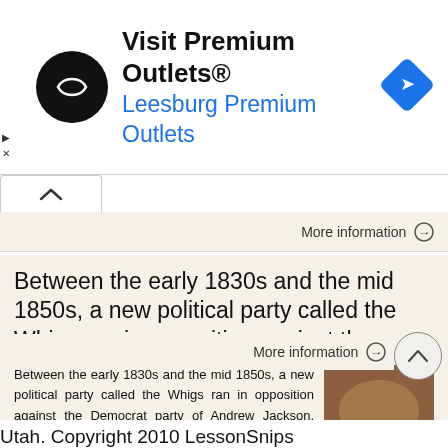[Figure (other): Advertisement banner: Visit Premium Outlets® with Leesburg Premium Outlets in blue, logo circle with double arrow icon on left, navigation arrow icon on right]
More information →
Between the early 1830s and the mid 1850s, a new political party called the Whigs ran in opposition against the
Between the early 1830s and the mid 1850s, a new political party called the Whigs ran in opposition against the Democrat party of Andrew Jackson. They believed in congressional supremacy instead of presidential
[Figure (illustration): Thumbnail image labeled Manifest Destiny showing a historical painting]
More information →
Utah. Copyright 2010 LessonSnips